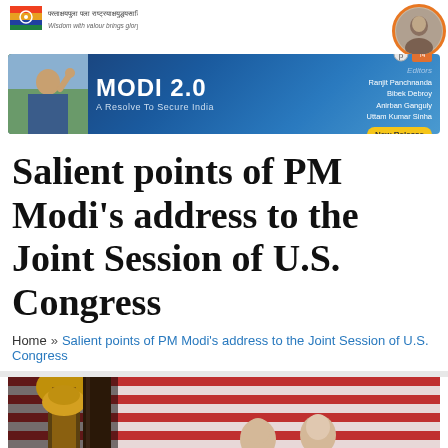[Figure (logo): Organization logo with colorful flag/shield emblem and text in Hindi/Sanskrit script below]
[Figure (photo): Circular avatar photo of a person, with orange border]
[Figure (infographic): Advertisement banner for book MODI 2.0 - A Resolve To Secure India. Editors: Ranjit Panchnanda, Bibek Debroy, Anirban Ganguly, Uttam Kumar Sinha. New Release label. Blue background with photo of Modi.]
Salient points of PM Modi's address to the Joint Session of U.S. Congress
Home » Salient points of PM Modi's address to the Joint Session of U.S. Congress
[Figure (photo): Photo of U.S. Congress joint session with two officials seated in front of American flags, ornate golden decoration on left]